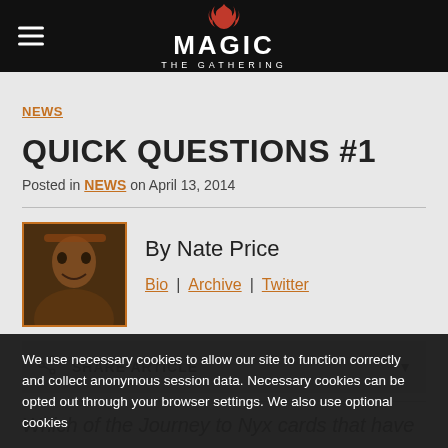MAGIC THE GATHERING
NEWS
QUICK QUESTIONS #1
Posted in NEWS on April 13, 2014
By Nate Price
Bio | Archive | Twitter
SHARE ARTICLE
Which of the Journey to Nyx cards that have
We use necessary cookies to allow our site to function correctly and collect anonymous session data. Necessary cookies can be opted out through your browser settings. We also use optional cookies